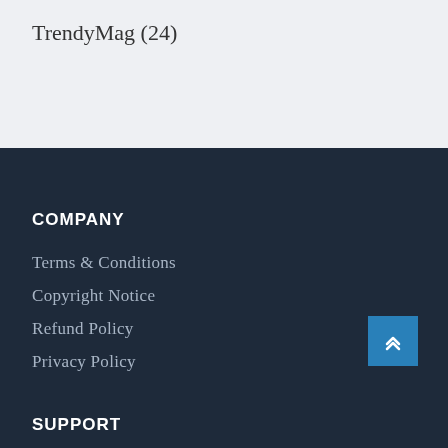TrendyMag (24)
COMPANY
Terms & Conditions
Copyright Notice
Refund Policy
Privacy Policy
SUPPORT